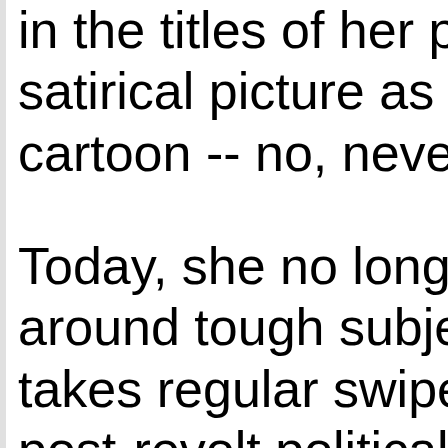in the titles of her pa satirical picture as s cartoon -- no, never Today, she no longe around tough subjec takes regular swipe post-revolt political c many as just as con